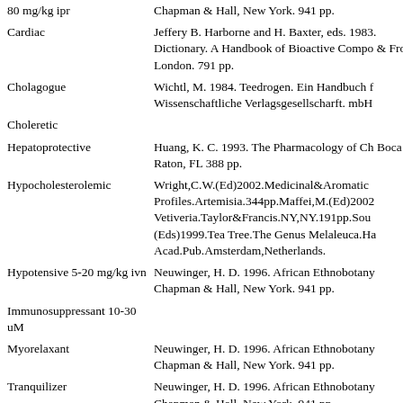| Activity/Dosage | Reference |
| --- | --- |
| 80 mg/kg ipr | Chapman & Hall, New York. 941 pp. |
| Cardiac | Jeffery B. Harborne and H. Baxter, eds. 1983. Dictionary. A Handbook of Bioactive Compounds & Frost, London. 791 pp. |
| Cholagogue | Wichtl, M. 1984. Teedrogen. Ein Handbuch f Wissenschaftliche Verlagsgesellscharft. mbH |
| Choleretic |  |
| Hepatoprotective | Huang, K. C. 1993. The Pharmacology of Ch Boca Raton, FL 388 pp. |
| Hypocholesterolemic | Wright,C.W.(Ed)2002.Medicinal&Aromatic Profiles.Artemisia.344pp.Maffei,M.(Ed)2002 Vetiveria.Taylor&Francis.NY,NY.191pp.Sou (Eds)1999.Tea Tree.The Genus Melaleuca.Ha Acad.Pub.Amsterdam,Netherlands. |
| Hypotensive 5-20 mg/kg ivn | Neuwinger, H. D. 1996. African Ethnobotany Chapman & Hall, New York. 941 pp. |
| Immunosuppressant 10-30 uM |  |
| Myorelaxant | Neuwinger, H. D. 1996. African Ethnobotany Chapman & Hall, New York. 941 pp. |
| Tranquilizer | Neuwinger, H. D. 1996. African Ethnobotany Chapman & Hall, New York. 941 pp. |
| Vasodilator |  |